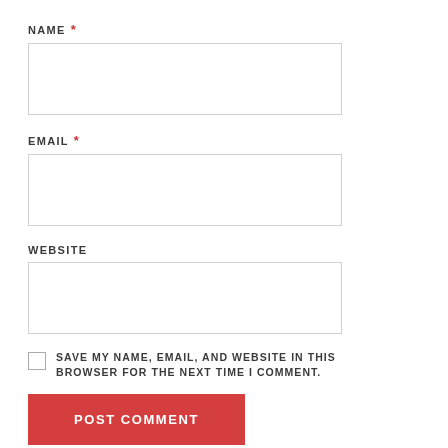NAME *
[Figure (other): Empty text input field for NAME]
EMAIL *
[Figure (other): Empty text input field for EMAIL]
WEBSITE
[Figure (other): Empty text input field for WEBSITE]
SAVE MY NAME, EMAIL, AND WEBSITE IN THIS BROWSER FOR THE NEXT TIME I COMMENT.
POST COMMENT
MOST POPULAR CELEBRITIES